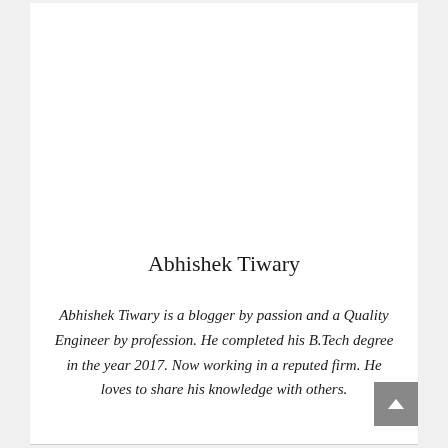Abhishek Tiwary
Abhishek Tiwary is a blogger by passion and a Quality Engineer by profession. He completed his B.Tech degree in the year 2017. Now working in a reputed firm. He loves to share his knowledge with others.